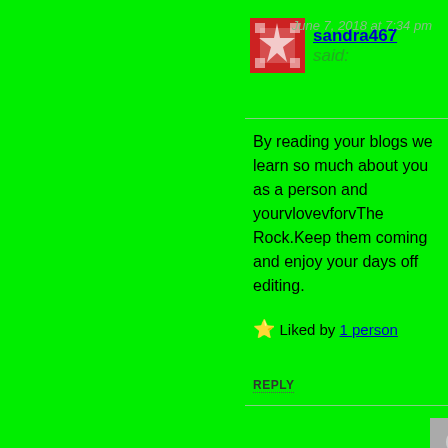sandra467 said: June 7, 2018 at 7:34 pm
By reading your blogs we learn so much about you as a person and yourvlovevforvThe Rock.Keep them coming and enjoy your days off editing.
⭐ Liked by 1 person
REPLY
Alan Dixon said: June 7, 2018 at 7:31 pm
Thank you so much Sandra that's really thoughtful and kind. I'm glad you've enjoyed chapter 1 and I really appreciate your support. Hopefully I will be back in a few days time with Chapter 2. Warm regards Alan 🙂
⭐ Like